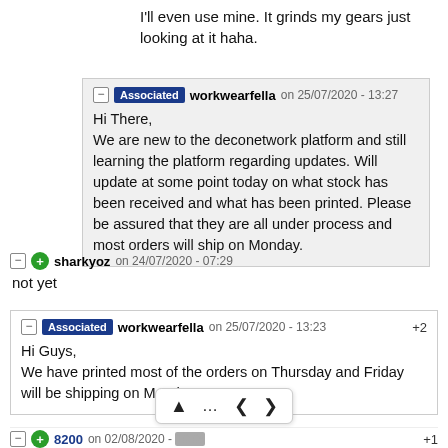I'll even use mine. It grinds my gears just looking at it haha.
Associated workwearfella on 25/07/2020 - 13:27
Hi There,
We are new to the deconetwork platform and still learning the platform regarding updates. Will update at some point today on what stock has been received and what has been printed. Please be assured that they are all under process and most orders will ship on Monday.
sharkyoz on 24/07/2020 - 07:29
not yet
Associated workwearfella on 25/07/2020 - 13:23 +2
Hi Guys,
We have printed most of the orders on Thursday and Friday will be shipping on Monday.
8200 on 02/08/2020 - 10:05 +1